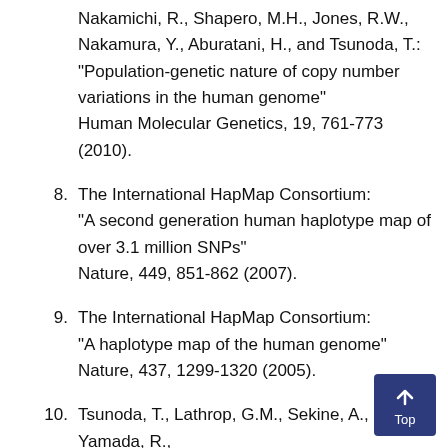Nakamichi, R., Shapero, M.H., Jones, R.W., Nakamura, Y., Aburatani, H., and Tsunoda, T.: "Population-genetic nature of copy number variations in the human genome" Human Molecular Genetics, 19, 761-773 (2010).
8. The International HapMap Consortium: "A second generation human haplotype map of over 3.1 million SNPs" Nature, 449, 851-862 (2007).
9. The International HapMap Consortium: "A haplotype map of the human genome" Nature, 437, 1299-1320 (2005).
10. Tsunoda, T., Lathrop, G.M., Sekine, A., Yamada, R., Takahashi, A., Ohnishi, Y., Tanaka, T., and